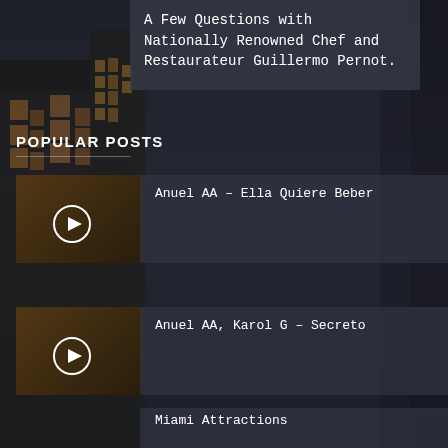A Few Questions with Nationally Renowned Chef and Restaurateur Guillermo Pernot.
POPULAR POSTS
Anuel AA – Ella Quiere Beber
Anuel AA, Karol G – Secreto
Miami Attractions